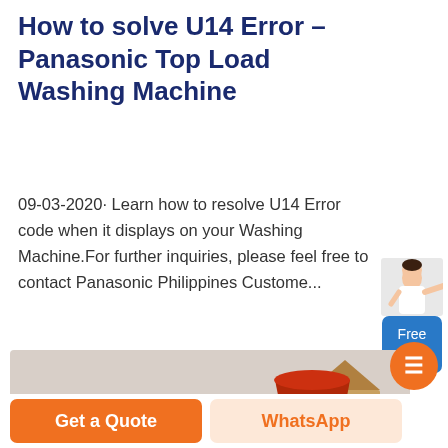How to solve U14 Error – Panasonic Top Load Washing Machine
09-03-2020· Learn how to resolve U14 Error code when it displays on your Washing Machine.For further inquiries, please feel free to contact Panasonic Philippines Custome...
[Figure (photo): Outdoor industrial/construction equipment photo — yellow and red heavy machinery, possibly excavator buckets or mining equipment, with trees and a building structure in the background under a hazy sky.]
Get a Quote
WhatsApp